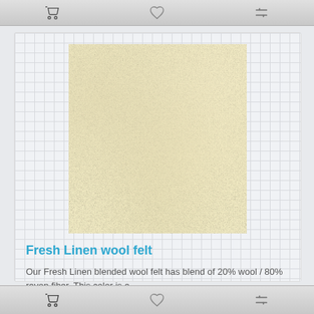toolbar icons: cart, heart, compare
[Figure (photo): Close-up photo of Fresh Linen wool felt fabric — cream/pale yellow textured surface]
Fresh Linen wool felt
Our Fresh Linen blended wool felt has blend of 20% wool / 80% rayon fiber. This color is a..
$1.35
★★★★★
toolbar icons: cart, heart, compare